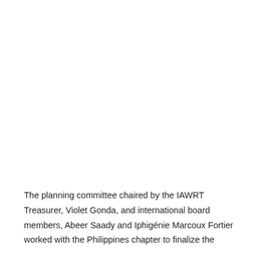The planning committee chaired by the IAWRT Treasurer, Violet Gonda, and international board members, Abeer Saady and Iphigénie Marcoux Fortier worked with the Philippines chapter to finalize the